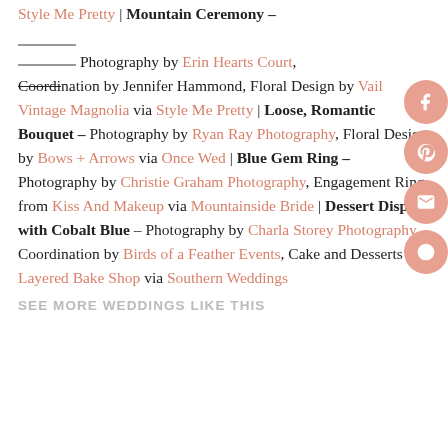Style Me Pretty | Mountain Ceremony – Photography by Erin Hearts Court, Coordination by Jennifer Hammond, Floral Design by Vail Vintage Magnolia via Style Me Pretty | Loose, Romantic Bouquet – Photography by Ryan Ray Photography, Floral Design by Bows + Arrows via Once Wed | Blue Gem Ring – Photography by Christie Graham Photography, Engagement Ring from Kiss And Makeup via Mountainside Bride | Dessert Display with Cobalt Blue – Photography by Charla Storey Photography, Coordination by Birds of a Feather Events, Cake and Desserts by Layered Bake Shop via Southern Weddings
SEE MORE WEDDINGS LIKE THIS